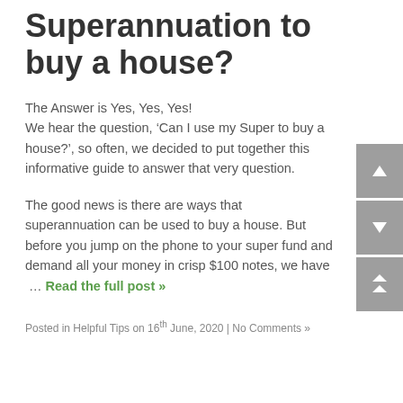Superannuation to buy a house?
The Answer is Yes, Yes, Yes!
We hear the question, ‘Can I use my Super to buy a house?’, so often, we decided to put together this informative guide to answer that very question.
The good news is there are ways that superannuation can be used to buy a house. But before you jump on the phone to your super fund and demand all your money in crisp $100 notes, we have … Read the full post »
Posted in Helpful Tips on 16th June, 2020 | No Comments »